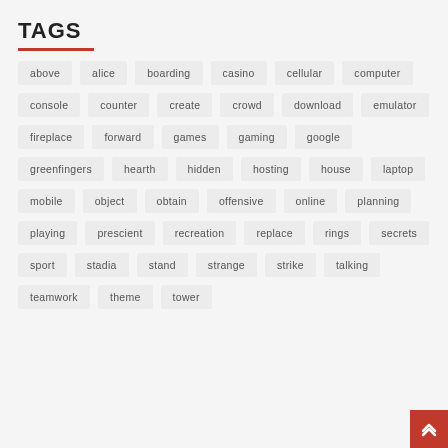TAGS
above
alice
boarding
casino
cellular
computer
console
counter
create
crowd
download
emulator
fireplace
forward
games
gaming
google
greenfingers
hearth
hidden
hosting
house
laptop
mobile
object
obtain
offensive
online
planning
playing
prescient
recreation
replace
rings
secrets
sport
stadia
stand
strange
strike
talking
teamwork
theme
tower